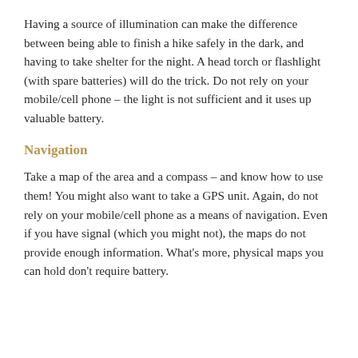Having a source of illumination can make the difference between being able to finish a hike safely in the dark, and having to take shelter for the night. A head torch or flashlight (with spare batteries) will do the trick. Do not rely on your mobile/cell phone – the light is not sufficient and it uses up valuable battery.
Navigation
Take a map of the area and a compass – and know how to use them! You might also want to take a GPS unit. Again, do not rely on your mobile/cell phone as a means of navigation. Even if you have signal (which you might not), the maps do not provide enough information. What's more, physical maps you can hold don't require battery.